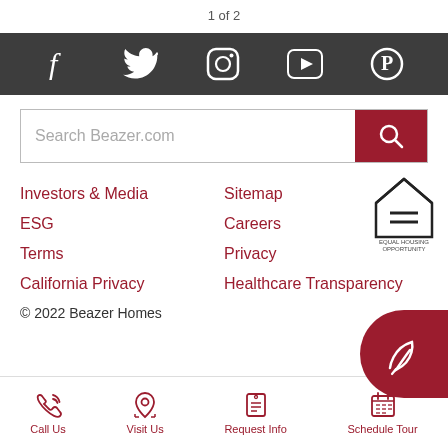1 of 2
[Figure (infographic): Social media icons bar: Facebook, Twitter, Instagram, YouTube, Pinterest on dark grey background]
[Figure (screenshot): Search box with placeholder text 'Search Beazer.com' and red search button]
Investors & Media
Sitemap
ESG
Careers
Terms
Privacy
California Privacy
Healthcare Transparency
[Figure (logo): Equal Housing Opportunity logo badge]
© 2022 Beazer Homes
[Figure (infographic): Bottom navigation bar with icons: Call Us, Visit Us, Request Info, Schedule Tour]